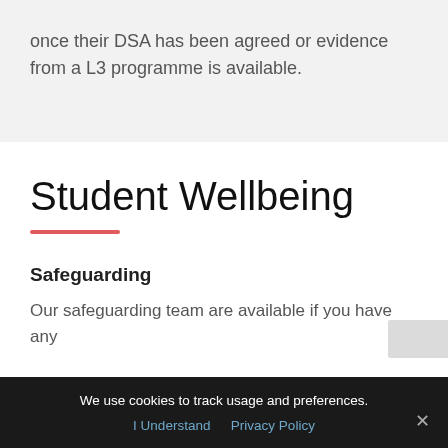once their DSA has been agreed or evidence from a L3 programme is available.
Student Wellbeing
Safeguarding
Our safeguarding team are available if you have any
We use cookies to track usage and preferences. I Understand  Privacy Policy